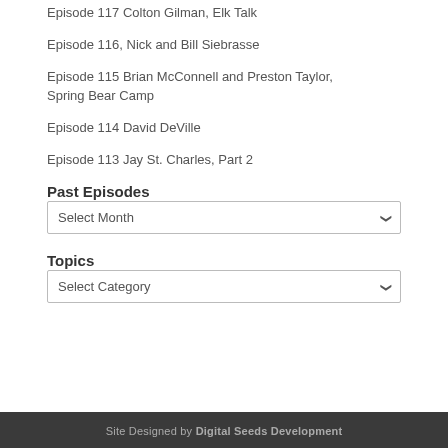Episode 117 Colton Gilman, Elk Talk
Episode 116, Nick and Bill Siebrasse
Episode 115 Brian McConnell and Preston Taylor, Spring Bear Camp
Episode 114 David DeVille
Episode 113 Jay St. Charles, Part 2
Past Episodes
Select Month
Topics
Select Category
Site Designed by Digital Seeds Development